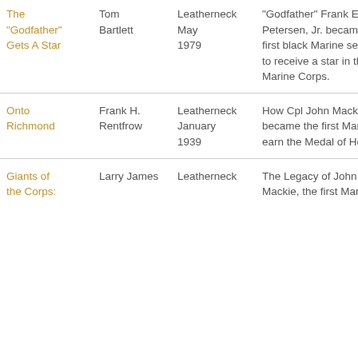| Title | Author | Publication | Description |
| --- | --- | --- | --- |
| The “Godfather” Gets A Star | Tom Bartlett | Leatherneck May 1979 | “Godfather” Frank E. Petersen, Jr. became the first black Marine selected to receive a star in the Marine Corps. |
| Onto Richmond | Frank H. Rentfrow | Leatherneck January 1939 | How Cpl John Mackie became the first Marine to earn the Medal of Honor. |
| Giants of the Corps: | Larry James | Leatherneck | The Legacy of John Mackie, the first Marine |